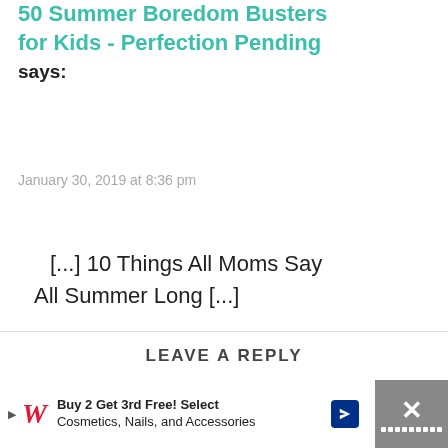50 Summer Boredom Busters for Kids - Perfection Pending says:
January 30, 2019 at 8:36 pm
[...] 10 Things All Moms Say All Summer Long [...]
LEAVE A REPLY
[Figure (screenshot): Walgreens advertisement banner: Buy 2 Get 3rd Free! Select Cosmetics, Nails, and Accessories]
[Figure (infographic): Sidebar action buttons: heart/like button with count 9, and share button]